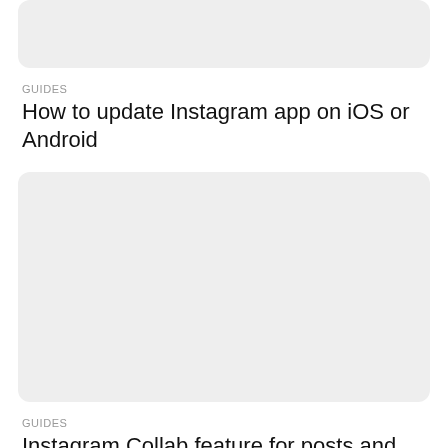[Figure (other): Gray rounded rectangle card placeholder at top of page, partially cropped]
GUIDES
How to update Instagram app on iOS or Android
[Figure (other): Gray rounded rectangle card placeholder in middle of page]
GUIDES
Instagram Collab feature for posts and Reels and how to use it